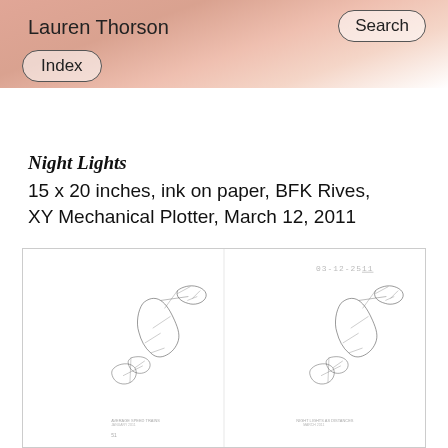Lauren Thorson
Search
Index
Night Lights
15 x 20 inches, ink on paper, BFK Rives, XY Mechanical Plotter, March 12, 2011
[Figure (photo): Two side-by-side plotted maps of Japan showing network lines, with a date stamp '03-12-2011' in the upper right area, and small text labels at the bottom of each map.]